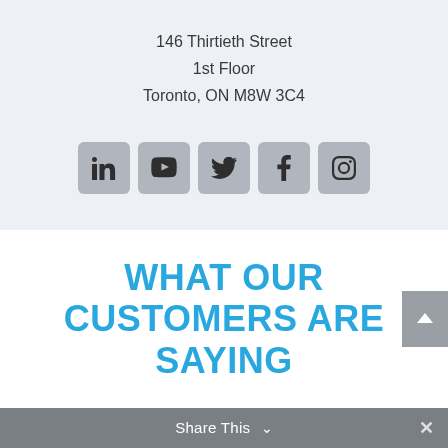146 Thirtieth Street
1st Floor
Toronto, ON M8W 3C4
[Figure (infographic): Row of 5 social media icon buttons (LinkedIn, YouTube, Twitter, Facebook, Instagram) with grey rounded square backgrounds]
WHAT OUR CUSTOMERS ARE SAYING
Share This  ∨  ×